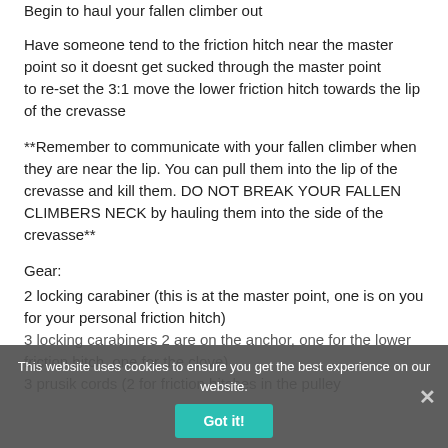Begin to haul your fallen climber out
Have someone tend to the friction hitch near the master point so it doesnt get sucked through the master point
to re-set the 3:1 move the lower friction hitch towards the lip of the crevasse
**Remember to communicate with your fallen climber when they are near the lip. You can pull them into the lip of the crevasse and kill them. DO NOT BREAK YOUR FALLEN CLIMBERS NECK by hauling them into the side of the crevasse**
Gear:
2 locking carabiner (this is at the master point, one is on you for your personal friction hitch)
3 locking carabiners 2 are on the anchor, one for the lower friction hitch, one for the clove)
3 prusik cords (2 for friction hitches in the pulley
This website uses cookies to ensure you get the best experience on our website.